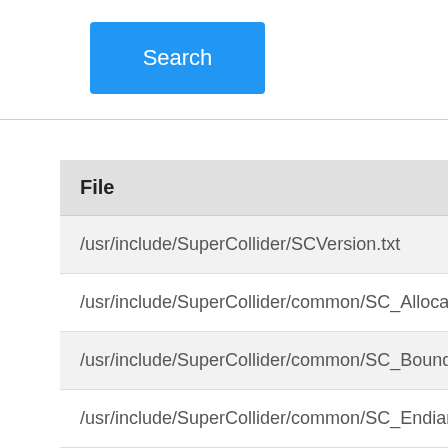[Figure (screenshot): Blue Search button on white background with border]
| File |
| --- |
| /usr/include/SuperCollider/SCVersion.txt |
| /usr/include/SuperCollider/common/SC_Alloca.h |
| /usr/include/SuperCollider/common/SC_BoundsMac |
| /usr/include/SuperCollider/common/SC_Endian.h |
| /usr/include/SuperCollider/common/SC_Export.h |
| /usr/include/SuperCollider/common/SC_Reply.h |